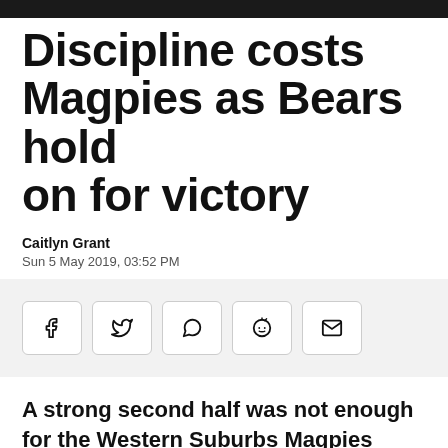Discipline costs Magpies as Bears hold on for victory
Caitlyn Grant
Sun 5 May 2019, 03:52 PM
[Figure (infographic): Social share buttons: Facebook, Twitter, WhatsApp, Reddit, Email]
A strong second half was not enough for the Western Suburbs Magpies today, who have gone down 18-6 to